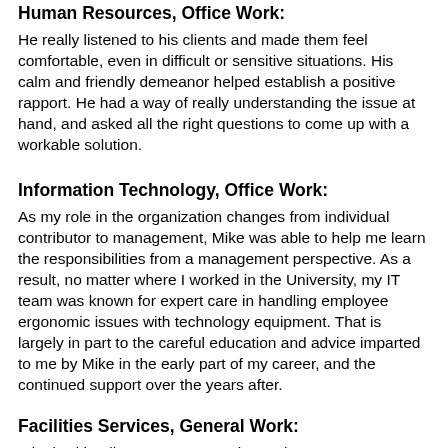Human Resources, Office Work:
He really listened to his clients and made them feel comfortable, even in difficult or sensitive situations. His calm and friendly demeanor helped establish a positive rapport. He had a way of really understanding the issue at hand, and asked all the right questions to come up with a workable solution.
Information Technology, Office Work:
As my role in the organization changes from individual contributor to management, Mike was able to help me learn the responsibilities from a management perspective. As a result, no matter where I worked in the University, my IT team was known for expert care in handling employee ergonomic issues with technology equipment. That is largely in part to the careful education and advice imparted to me by Mike in the early part of my career, and the continued support over the years after.
Facilities Services, General Work:
I dealt with Mike on many occasions. The outcome was always positive and I always felt 100% confident that I could